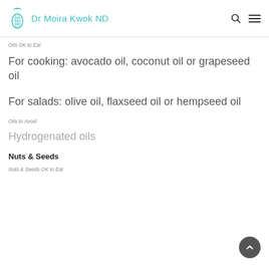Dr Moira Kwok ND
Oils OK to Eat
For cooking: avocado oil, coconut oil or grapeseed oil
For salads: olive oil, flaxseed oil or hempseed oil
Oils to Avoid
Hydrogenated oils
Nuts & Seeds
Nuts & Seeds OK to Eat